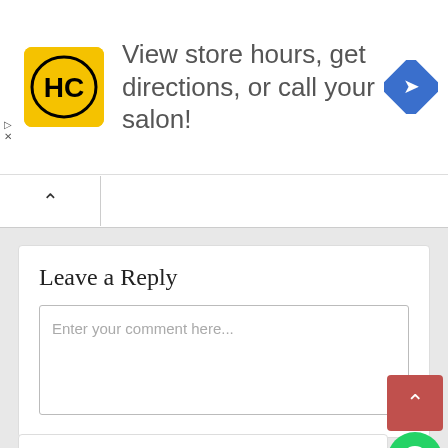[Figure (other): Advertisement banner with HC salon logo (yellow square with HC text), navigation icon (blue diamond with right arrow), and text: View store hours, get directions, or call your salon!]
Enter your comment here...
Leave a Reply
Australian News
Scott Morrison saga casts scrutiny on Australia's